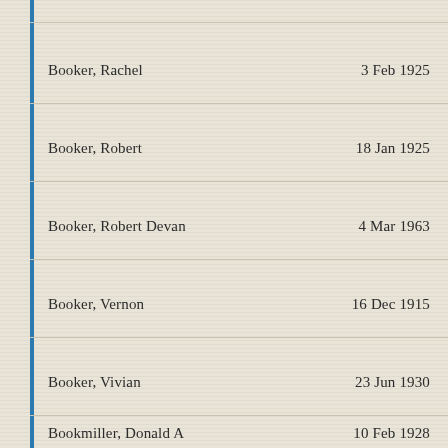| Name | Date |
| --- | --- |
| Booker, Rachel | 3 Feb 1925 |
| Booker, Robert | 18 Jan 1925 |
| Booker, Robert Devan | 4 Mar 1963 |
| Booker, Vernon | 16 Dec 1915 |
| Booker, Vivian | 23 Jun 1930 |
| Bookmiller, Donald A | 10 Feb 1928 |